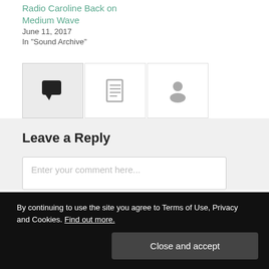Radio Caroline Back on Medium Wave
June 11, 2017
In "Sound Archive"
[Figure (other): Three tab icons: active chat/comment bubble icon (dark), list/clipboard icon (gray), person/user icon (gray)]
Leave a Reply
Enter your comment here...
By continuing to use the site you agree to Terms of Use, Privacy and Cookies. Find out more.
Close and accept